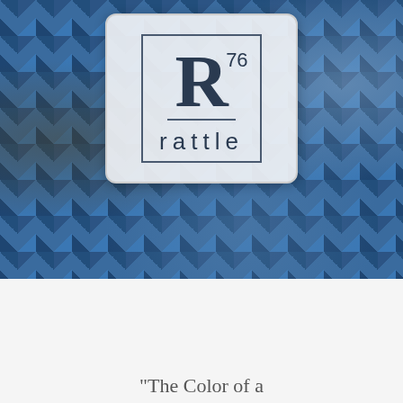[Figure (screenshot): Rattle poetry magazine website header with blue quilt/mosaic background image and Rattle R76 logo in a light box]
[Figure (logo): Rattle magazine logo: large R with superscript 76 and the word 'rattle' below in a bordered box]
[Figure (infographic): Dark navigation bar with hamburger menu icon on the right]
[Figure (infographic): Row of 5 social media icons (YouTube, Facebook, Twitter, Instagram, RSS) in circular borders, with a shopping cart badge showing 0]
“The Color of a